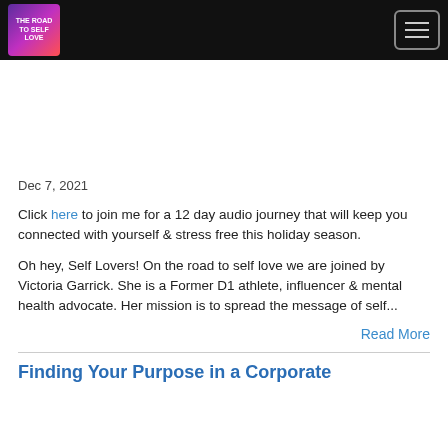The Road to Self Love
Dec 7, 2021
Click here to join me for a 12 day audio journey that will keep you connected with yourself & stress free this holiday season.
Oh hey, Self Lovers! On the road to self love we are joined by Victoria Garrick. She is a Former D1 athlete, influencer & mental health advocate. Her mission is to spread the message of self...
Read More
Finding Your Purpose in a Corporate